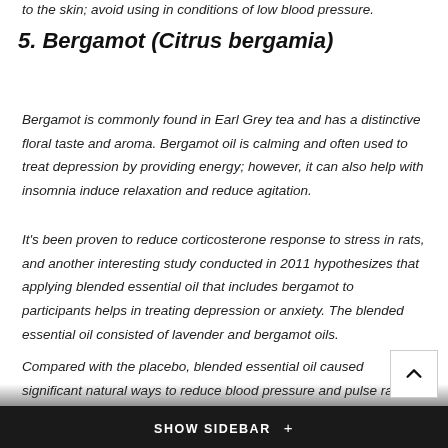to the skin; avoid using in conditions of low blood pressure.
5. Bergamot (Citrus bergamia)
Bergamot is commonly found in Earl Grey tea and has a distinctive floral taste and aroma. Bergamot oil is calming and often used to treat depression by providing energy; however, it can also help with insomnia induce relaxation and reduce agitation.
It's been proven to reduce corticosterone response to stress in rats, and another interesting study conducted in 2011 hypothesizes that applying blended essential oil that includes bergamot to participants helps in treating depression or anxiety.  The blended essential oil consisted of lavender and bergamot oils.
Compared with the placebo, blended essential oil caused significant natural ways to reduce blood pressure and pulse rate, and participants in the blended essential oil group rated themselves as “more calm” and “more relaxed” than the control group.
SHOW SIDEBAR +